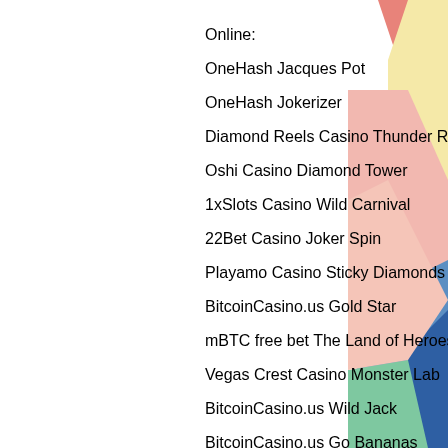Online:
OneHash Jacques Pot
OneHash Jokerizer
Diamond Reels Casino Thunder Reels
Oshi Casino Diamond Tower
1xSlots Casino Wild Carnival
22Bet Casino Joker Spin
Playamo Casino Sticky Diamonds
BitcoinCasino.us Gold Star
mBTC free bet The Land of Heroes Golden Nights
Vegas Crest Casino Monster Lab
BitcoinCasino.us Wild Jack
BitcoinCasino.us Go Bananas
Mars Casino Pinocchio
1xBit Casino Golden Sphinx
Cloudbet Casino 5x Magic
https://www.consultorioroma.com/profile/devosssiviaq/profile
https://www.richmondsathyasaicenter.org/pro